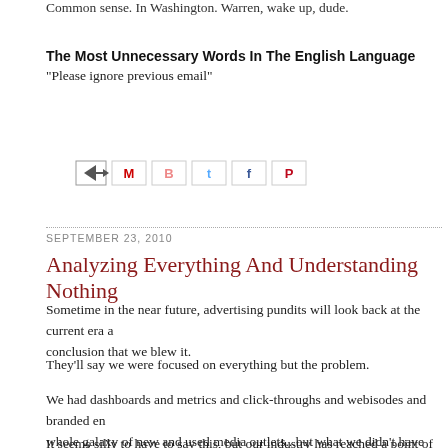Common sense. In Washington. Warren, wake up, dude.
The Most Unnecessary Words In The English Language
"Please ignore previous email"
[Figure (other): Social sharing icons row: email forward icon, Gmail icon, Blogger icon, Twitter icon, Facebook icon, Pinterest icon]
SEPTEMBER 23, 2010
Analyzing Everything And Understanding Nothing
Sometime in the near future, advertising pundits will look back at the current era a conclusion that we blew it.
They'll say we were focused on everything but the problem.
We had dashboards and metrics and click-throughs and webisodes and branded en whole galaxy of new and used media outlets...but what we didn't have was very go
It seems silly to have to say this, but our industry has reached a point of such grote I'm going to say it anyway -- the business of the advertising business is advertising
If the advertising isn't very good, what difference does the rest of it make?